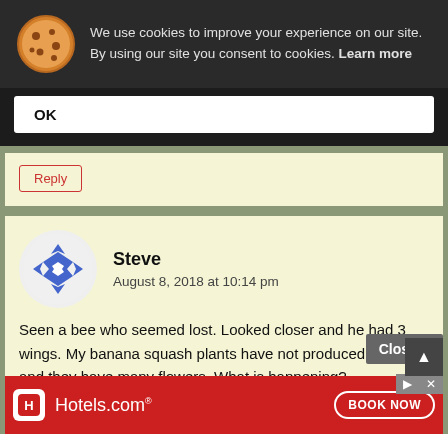We use cookies to improve your experience on our site. By using our site you consent to cookies. Learn more
OK
Reply
Steve
August 8, 2018 at 10:14 pm
Seen a bee who seemed lost. Looked closer and he had 3 wings. My banana squash plants have not produced anything and they have many flowers. What is happening?
Reply
Close X
[Figure (screenshot): Hotels.com advertisement banner with red background, logo, and BOOK NOW button]